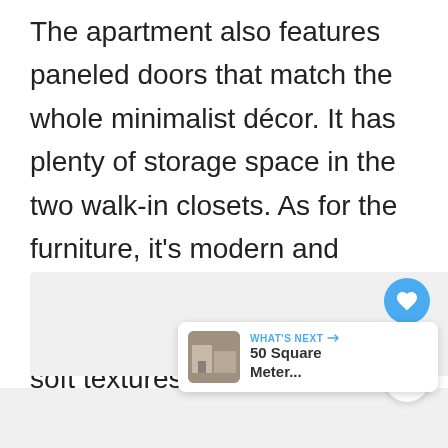The apartment also features paneled doors that match the whole minimalist décor. It has plenty of storage space in the two walk-in closets. As for the furniture, it's modern and minimalist. It features light colors, curvilinear shapes and soft textures. The apartment is located on the first floor in a building with elevator and has 3 rooms.
[Figure (screenshot): UI overlay with heart/like button (blue circle with heart icon), like count '1', and share button (white circle with share icon)]
[Figure (screenshot): What's Next panel with thumbnail image of a room and text '50 Square Meter...']